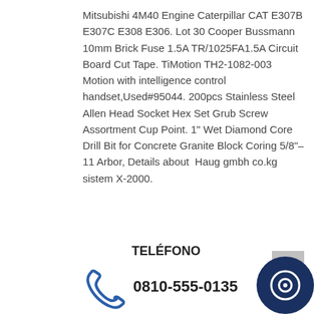Mitsubishi 4M40 Engine Caterpillar CAT E307B E307C E308 E306. Lot 30 Cooper Bussmann 10mm Brick Fuse 1.5A TR/1025FA1.5A Circuit Board Cut Tape. TiMotion TH2-1082-003 Motion with intelligence control handset,Used#95044. 200pcs Stainless Steel Allen Head Socket Hex Set Grub Screw Assortment Cup Point. 1" Wet Diamond Core Drill Bit for Concrete Granite Block Coring 5/8"-11 Arbor, Details about Haug gmbh co.kg sistem X-2000.
TELÉFONO
0810-555-0135
Lunes a Viernes |09:00 a.m. a 20:00 p.m.